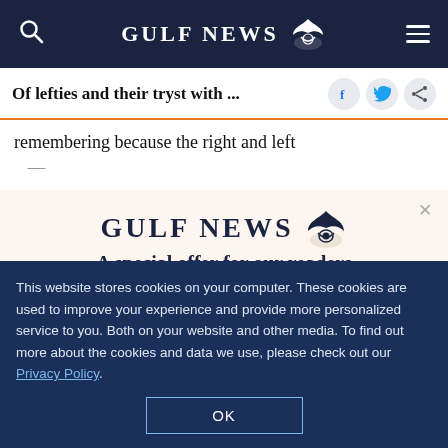GULF NEWS
Of lefties and their tryst with ...
remembering because the right and left
[Figure (screenshot): Gulf News subscription modal popup with logo, tagline 'A special offer for our readers', and body text 'Get the two years All-Access subscription now']
This website stores cookies on your computer. These cookies are used to improve your experience and provide more personalized service to you. Both on your website and other media. To find out more about the cookies and data we use, please check out our Privacy Policy.
OK